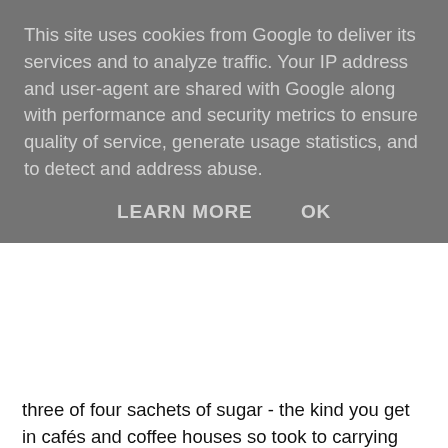This site uses cookies from Google to deliver its services and to analyze traffic. Your IP address and user-agent are shared with Google along with performance and security metrics to ensure quality of service, generate usage statistics, and to detect and address abuse.
LEARN MORE    OK
three of four sachets of sugar - the kind you get in cafés and coffee houses so took to carrying them instead. For many years I siezed hypos as an opportunity to have a funsized chocolate bar (even after I knew that chocolate was nothing like fast-acting enough really). I would have chocolate in my coat pocket and the tin in my jeans. The tin became my 'last line of defence'. If ever I was anywhere and the shops were shut or there was just nothing around I would at least have something that might keep me going. I began to develop heirarchy of treatments based on their suitability to the time of year. Skittles and Jelly Babies come in small bags in some funsize assortments and are virtually indestructible in a jeans pocket during the Summer - even in 80% humidity and scorching temperatures on a brief stay in Singapore.